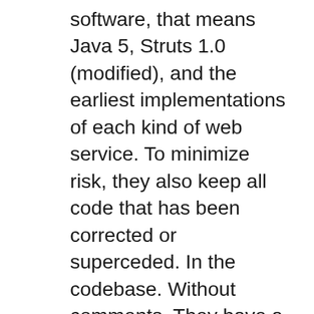software, that means Java 5, Struts 1.0 (modified), and the earliest implementations of each kind of web service. To minimize risk, they also keep all code that has been corrected or superceded. In the codebase. Without comments. They have a revision system (Clearcase) that keeps track of it all, defeating the purpose of revision control. And even though there are whole unused packages still lying around after ten years, they are still part of the codebase that gets promoted to production every two weeks.
So although there is no written rule, it is part of the cargo cult culture to pass this